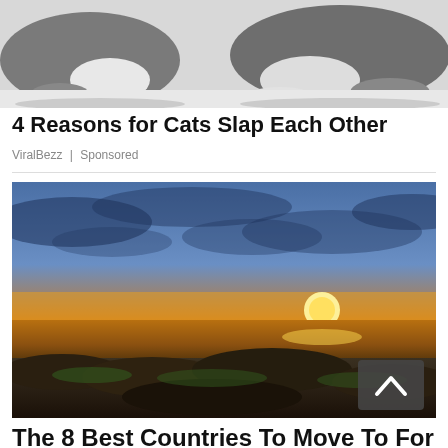[Figure (photo): Two grey and white cats lying on a white surface, cropped to show their lower bodies and paws]
4 Reasons for Cats Slap Each Other
ViralBezz | Sponsored
[Figure (photo): Dramatic ocean sunset photo with rocky foreground, golden sun on the horizon, and blue cloudy sky. A dark grey scroll-to-top button with a caret/chevron up arrow is overlaid in the bottom-right corner.]
The 8 Best Countries To Move To For Retirement